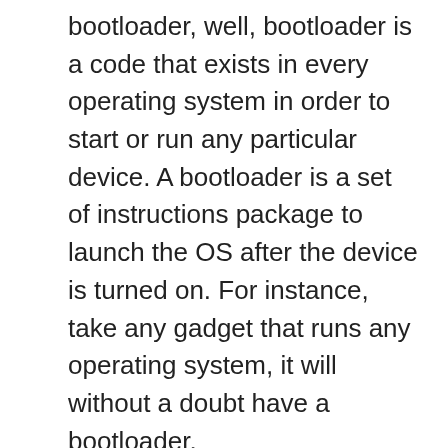bootloader, well, bootloader is a code that exists in every operating system in order to start or run any particular device. A bootloader is a set of instructions package to launch the OS after the device is turned on. For instance, take any gadget that runs any operating system, it will without a doubt have a bootloader.